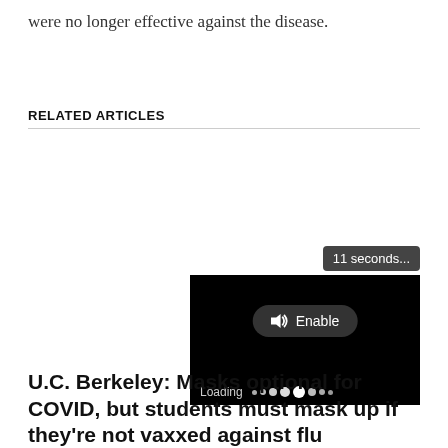were no longer effective against the disease.
RELATED ARTICLES
[Figure (screenshot): Video player with black background showing an Enable audio button and a loading bar with dots. A timer badge showing '11 seconds...' appears above the player.]
U.C. Berkeley: Masks optional for COVID, but students must mask up if they're not vaxxed against flu